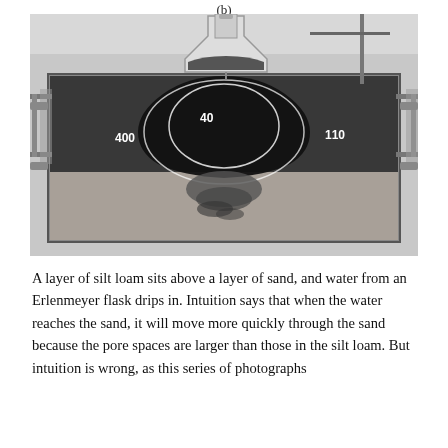(b)
[Figure (photo): Black and white photograph of a laboratory experiment showing a glass box/tank containing two soil layers: silt loam on top and sand on the bottom. An Erlenmeyer flask mounted on a stand above drips water into the tank. The dark (wet) region forms an inverted heart/funnel shape in the upper silt loam layer with numbers 400, 40, and 110 visible as measurement markers. The wet region in the sand below shows irregular spreading.]
A layer of silt loam sits above a layer of sand, and water from an Erlenmeyer flask drips in. Intuition says that when the water reaches the sand, it will move more quickly through the sand because the pore spaces are larger than those in the silt loam. But intuition is wrong, as this series of photographs